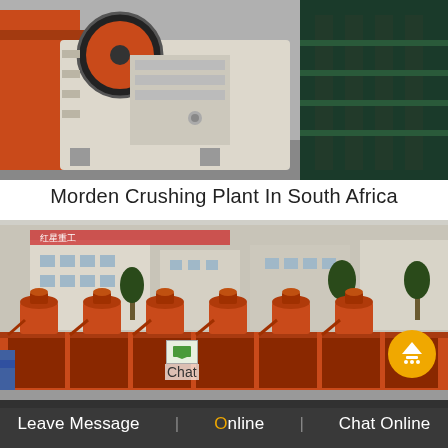[Figure (photo): Industrial jaw crusher machine: large orange/red and white/cream colored heavy machinery with visible flywheel and structural frame, photographed indoors on concrete floor. A dark green machine component is visible on the right.]
Morden Crushing Plant In South Africa
[Figure (photo): Flotation machine or industrial mixing/flotation equipment: a row of orange/red cylindrical units mounted on a large orange-red rectangular trough/tank, photographed outdoors with Chinese factory buildings and trees in background.]
Leave Message    Online    Chat Online